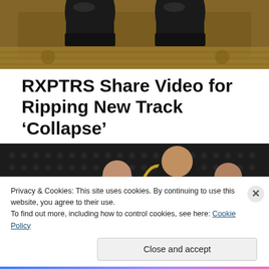[Figure (photo): Close-up photo of black platform boots on a decorative rug or carpet background]
RXPTRS Share Video for Ripping New Track ‘Collapse’
[Figure (photo): Band photo of RXPTRS — five members posed in a dark studio setting with chairs and decorative items]
Privacy & Cookies: This site uses cookies. By continuing to use this website, you agree to their use.
To find out more, including how to control cookies, see here: Cookie Policy
Close and accept